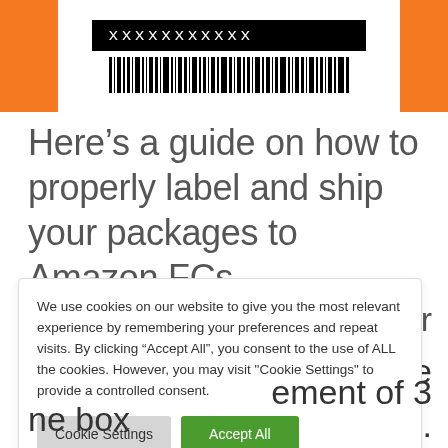[Figure (other): Amazon shipping label with orange side panels, black text bar reading 'xxxxxxxxxxx' and a barcode below]
Here’s a guide on how to properly label and ship your packages to Amazon FCs.
We use cookies on our website to give you the most relevant experience by remembering your preferences and repeat visits. By clicking “Accept All”, you consent to the use of ALL the cookies. However, you may visit "Cookie Settings" to provide a controlled consent.
Cookie Settings   Accept All
...ver
...it. Make
...labels.
...ement of 3
...ne box
opening or a seam to prevent breaking